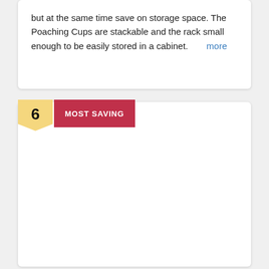but at the same time save on storage space. The Poaching Cups are stackable and the rack small enough to be easily stored in a cabinet.  more
6  MOST SAVING